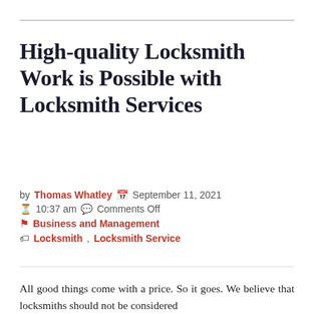High-quality Locksmith Work is Possible with Locksmith Services
by Thomas Whatley  September 11, 2021  10:37 am  Comments Off  Business and Management  Locksmith, Locksmith Service
All good things come with a price. So it goes. We believe that locksmiths should not be considered